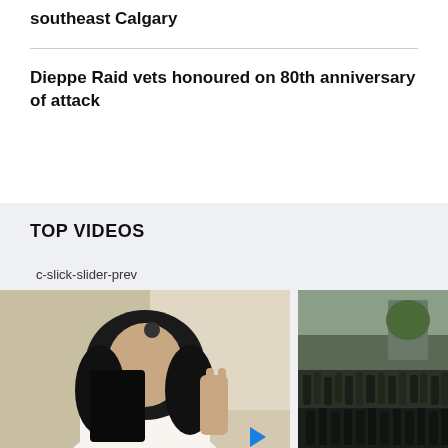southeast Calgary
Dieppe Raid vets honoured on 80th anniversary of attack
TOP VIDEOS
c-slick-slider-prev
[Figure (photo): Woman in white shirt and black hijab holding a phone and making a peace sign, appears to be a selfie or video call screenshot]
[Figure (photo): Crowd of people on a street, appears to be a protest or gathering, partially cropped]
Alta. woman killed in shooting remembered
80th anniv... commemorated